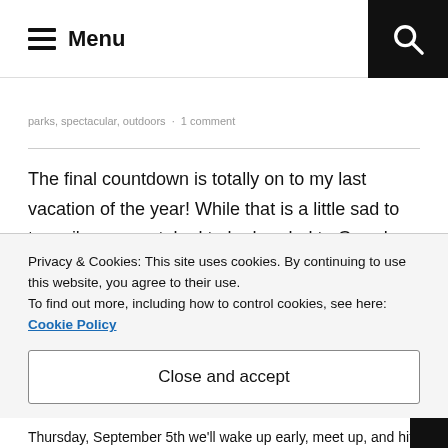Menu
parks, spectacular, outdoors · 1 comment
The final countdown is totally on to my last vacation of the year! While that is a little sad to type, i'm super stoked to be headed to Grand Canyon again. This year is pretty much the same as last years trip, just a few weeks later in the year (hopefully it'll be a little less hot).
Privacy & Cookies: This site uses cookies. By continuing to use this website, you agree to their use.
To find out more, including how to control cookies, see here: Cookie Policy
Close and accept
Thursday, September 5th we'll wake up early, meet up, and hit